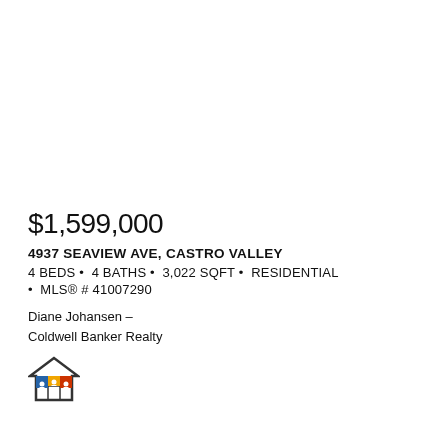$1,599,000
4937 SEAVIEW AVE, CASTRO VALLEY
4 BEDS • 4 BATHS • 3,022 SQFT • RESIDENTIAL • MLS® # 41007290
Diane Johansen –
Coldwell Banker Realty
[Figure (logo): Equal Housing Opportunity logo — house outline with columns and people]